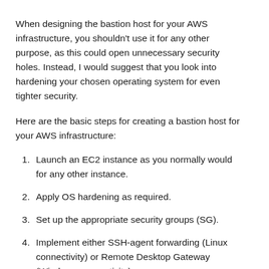When designing the bastion host for your AWS infrastructure, you shouldn't use it for any other purpose, as this could open unnecessary security holes. Instead, I would suggest that you look into hardening your chosen operating system for even tighter security.
Here are the basic steps for creating a bastion host for your AWS infrastructure:
Launch an EC2 instance as you normally would for any other instance.
Apply OS hardening as required.
Set up the appropriate security groups (SG).
Implement either SSH-agent forwarding (Linux connectivity) or Remote Desktop Gateway (Windows connectivity).